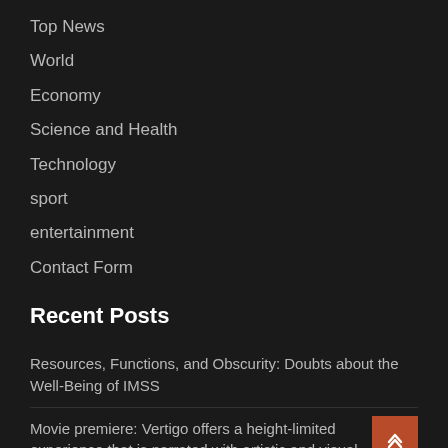Top News
World
Economy
Science and Health
Technology
sport
entertainment
Contact Form
Recent Posts
Resources, Functions, and Obscurity: Doubts about the Well-Being of IMSS
Movie premiere: Vertigo offers a height-limited experience that is narrated with artistic and visual skill
If you want greater integration between your Samsung Galaxy Watch and WhatsApp, this novelty is for you